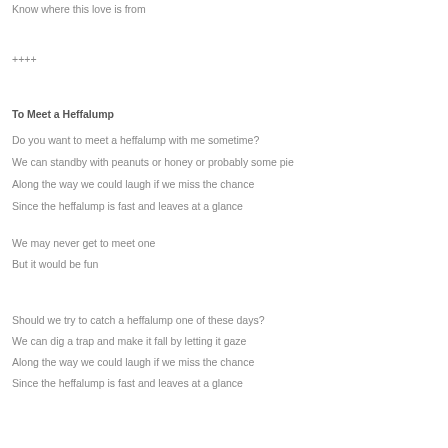Know where this love is from
++++
To Meet a Heffalump
Do you want to meet a heffalump with me sometime?
We can standby with peanuts or honey or probably some pie
Along the way we could laugh if we miss the chance
Since the heffalump is fast and leaves at a glance
We may never get to meet one
But it would be fun
Should we try to catch a heffalump one of these days?
We can dig a trap and make it fall by letting it gaze
Along the way we could laugh if we miss the chance
Since the heffalump is fast and leaves at a glance